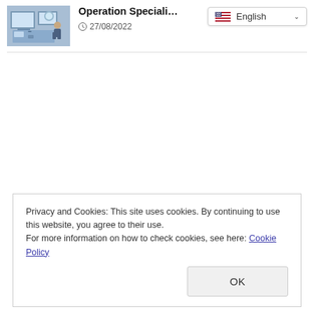[Figure (photo): Thumbnail image of a person working at a computer workstation with monitors]
Operation Speciali…
27/08/2022
English (language selector dropdown)
Privacy and Cookies: This site uses cookies. By continuing to use this website, you agree to their use.
For more information on how to check cookies, see here: Cookie Policy